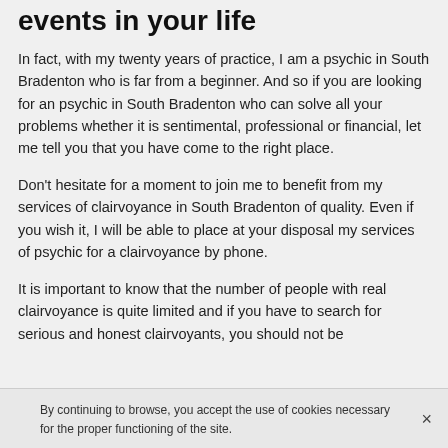events in your life
In fact, with my twenty years of practice, I am a psychic in South Bradenton who is far from a beginner. And so if you are looking for an psychic in South Bradenton who can solve all your problems whether it is sentimental, professional or financial, let me tell you that you have come to the right place.
Don't hesitate for a moment to join me to benefit from my services of clairvoyance in South Bradenton of quality. Even if you wish it, I will be able to place at your disposal my services of psychic for a clairvoyance by phone.
It is important to know that the number of people with real clairvoyance is quite limited and if you have to search for serious and honest clairvoyants, you should not be
By continuing to browse, you accept the use of cookies necessary for the proper functioning of the site.